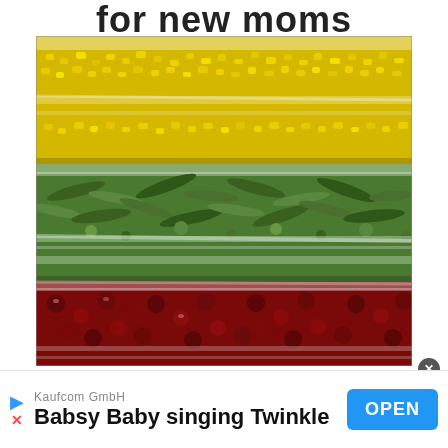for new moms
[Figure (photo): Stacked frozen food bags containing corn kernels (yellow), green beans (green), leafy greens (green), and dark berries/cherries (red/dark purple), viewed from the side in a close-up shot.]
Kaufcom GmbH
Babsy Baby singing Twinkle
OPEN